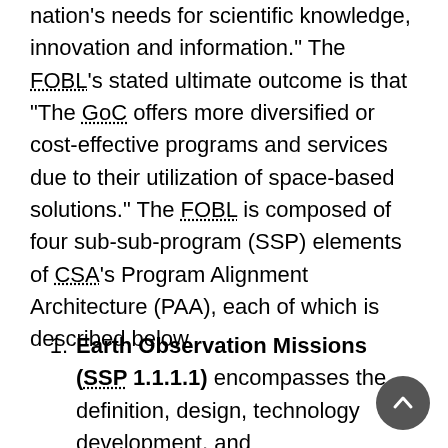nation's needs for scientific knowledge, innovation and information." The FOBL's stated ultimate outcome is that "The GoC offers more diversified or cost-effective programs and services due to their utilization of space-based solutions." The FOBL is composed of four sub-sub-program (SSP) elements of CSA's Program Alignment Architecture (PAA), each of which is described below.
Earth Observation Missions (SSP 1.1.1.1) encompasses the definition, design, technology development, and